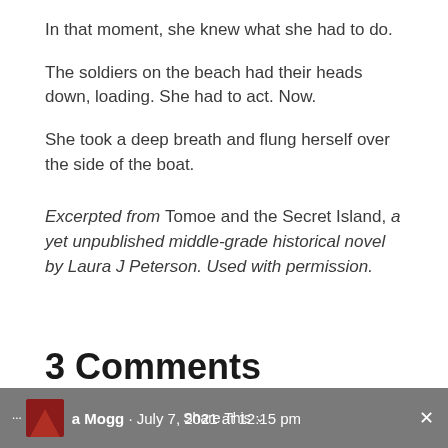In that moment, she knew what she had to do.
The soldiers on the beach had their heads down, loading. She had to act. Now.
She took a deep breath and flung herself over the side of the boat.
Excerpted from Tomoe and the Secret Island, a yet unpublished middle-grade historical novel by Laura J Peterson. Used with permission.
3 Comments
a Mogg · July 7, 2021 at 12:15 pm · Share This